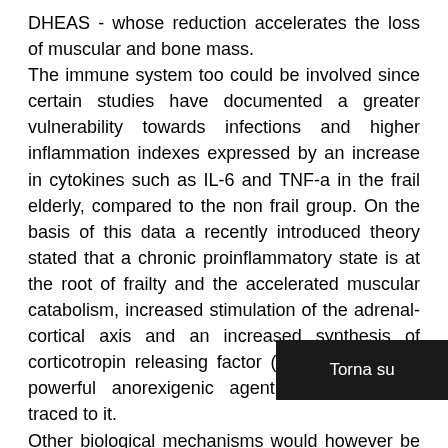DHEAS - whose reduction accelerates the loss of muscular and bone mass. The immune system too could be involved since certain studies have documented a greater vulnerability towards infections and higher inflammation indexes expressed by an increase in cytokines such as IL-6 and TNF-a in the frail elderly, compared to the non frail group. On the basis of this data a recently introduced theory stated that a chronic proinflammatory state is at the root of frailty and the accelerated muscular catabolism, increased stimulation of the adrenal-cortical axis and an increased synthesis of corticotropin releasing factor (CRF), which is a powerful anorexigenic agent, can be partly traced to it. Other biological mechanisms would however be involved in causing frailty since this condition is often also characterised by the presence of anaemia, lo[w], total protein and blood cholesterol levels and other signs of nutritional and nutrititive...